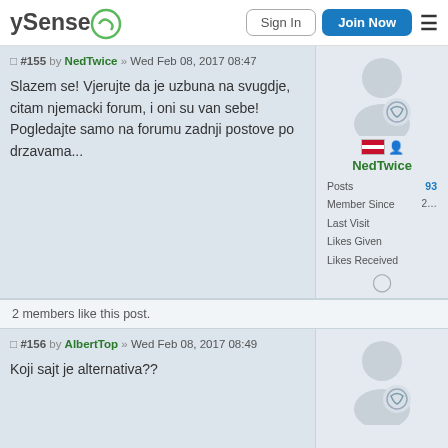ySense | Sign In | Join Now
#155 by NedTwice » Wed Feb 08, 2017 08:47
Slazem se! Vjerujte da je uzbuna na svugdje, citam njemacki forum, i oni su van sebe! Pogledajte samo na forumu zadnji postove po drzavama...
NedTwice
Posts 93
Member Since
Last Visit
Likes Given
Likes Received
2 members like this post.
#156 by AlbertTop » Wed Feb 08, 2017 08:49
Koji sajt je alternativa??